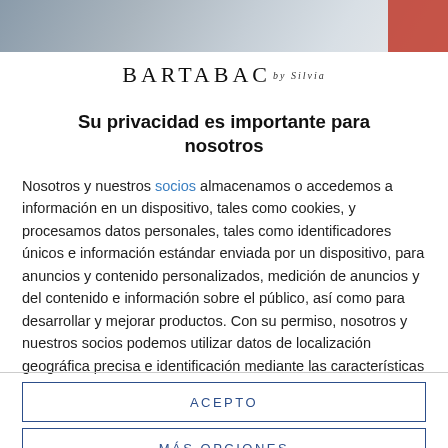[Figure (photo): Blurred photo strip at top of page with grayish/blue tones and a red element on the right side]
BARTABAC by Silvia
Su privacidad es importante para nosotros
Nosotros y nuestros socios almacenamos o accedemos a información en un dispositivo, tales como cookies, y procesamos datos personales, tales como identificadores únicos e información estándar enviada por un dispositivo, para anuncios y contenido personalizados, medición de anuncios y del contenido e información sobre el público, así como para desarrollar y mejorar productos. Con su permiso, nosotros y nuestros socios podemos utilizar datos de localización geográfica precisa e identificación mediante las características de dispositivos. Puede hacer clic para otorgarnos su consentimiento a
ACEPTO
MÁS OPCIONES